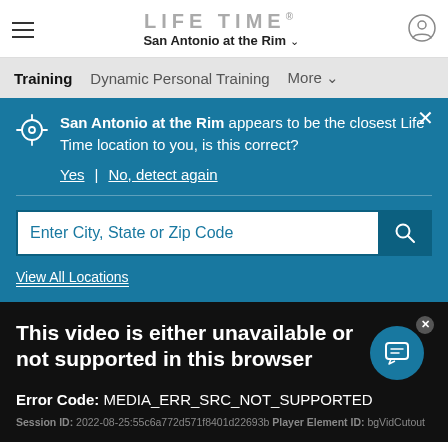LIFE TIME® San Antonio at the Rim
Training | Dynamic Personal Training | More
San Antonio at the Rim appears to be the closest Life Time location to you, is this correct?
Yes | No, detect again
Enter City, State or Zip Code
View All Locations
This video is either unavailable or not supported in this browser
Error Code: MEDIA_ERR_SRC_NOT_SUPPORTED
Session ID: 2022-08-25:55c6a772d571f8401d22693b Player Element ID: bgVidCutout